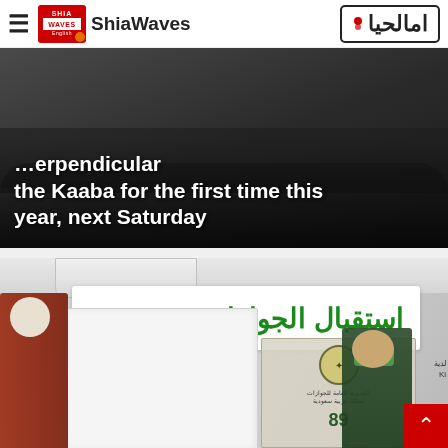ShiaWaves
[Figure (photo): Article header image with dark background showing crowd and text overlay: '...perpendicular the Kaaba for the first time this year, next Saturday']
...perpendicular the Kaaba for the first time this year, next Saturday
[Figure (photo): Photo of a Saudi passport reception area with a white sign in Arabic reading 'استقبال الجوازات' (Passport Reception), a man in traditional Saudi dress on the left, and a uniformed officer wearing a green mask on the right]